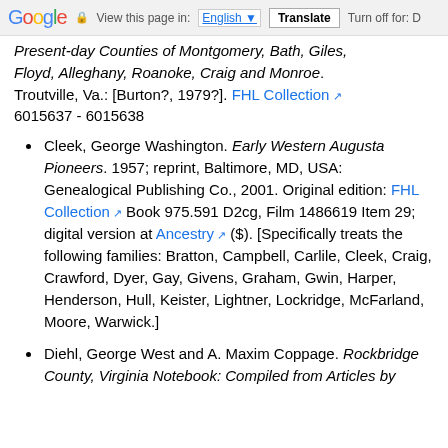Google — View this page in: English | Translate | Turn off for: D
Present-day Counties of Montgomery, Bath, Giles, Floyd, Alleghany, Roanoke, Craig and Monroe. Troutville, Va.: [Burton?, 1979?]. FHL Collection 6015637 - 6015638
Cleek, George Washington. Early Western Augusta Pioneers. 1957; reprint, Baltimore, MD, USA: Genealogical Publishing Co., 2001. Original edition: FHL Collection Book 975.591 D2cg, Film 1486619 Item 29; digital version at Ancestry ($). [Specifically treats the following families: Bratton, Campbell, Carlile, Cleek, Craig, Crawford, Dyer, Gay, Givens, Graham, Gwin, Harper, Henderson, Hull, Keister, Lightner, Lockridge, McFarland, Moore, Warwick.]
Diehl, George West and A. Maxim Coppage. Rockbridge County, Virginia Notebook: Compiled from Articles by